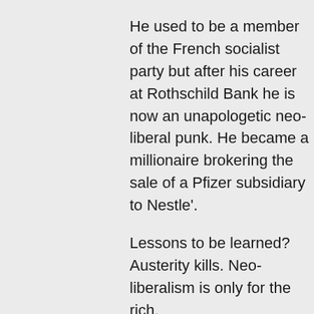He used to be a member of the French socialist party but after his career at Rothschild Bank he is now an unapologetic neo-liberal punk. He became a millionaire brokering the sale of a Pfizer subsidiary to Nestle'.
Lessons to be learned? Austerity kills. Neo-liberalism is only for the rich.